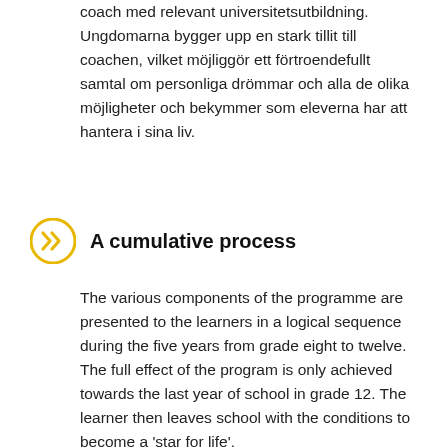coach med relevant universitetsutbildning. Ungdomarna bygger upp en stark tillit till coachen, vilket möjliggör ett förtroendefullt samtal om personliga drömmar och alla de olika möjligheter och bekymmer som eleverna har att hantera i sina liv.
A cumulative process
The various components of the programme are presented to the learners in a logical sequence during the five years from grade eight to twelve. The full effect of the program is only achieved towards the last year of school in grade 12. The learner then leaves school with the conditions to become a 'star for life'.